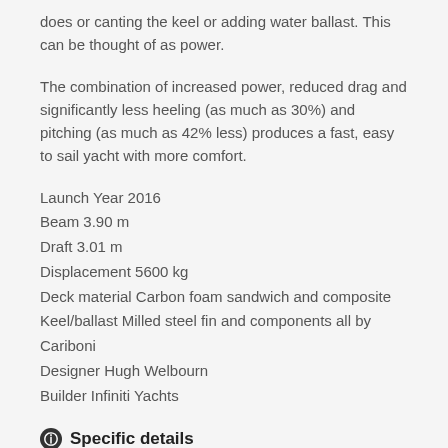does or canting the keel or adding water ballast. This can be thought of as power.
The combination of increased power, reduced drag and significantly less heeling (as much as 30%) and pitching (as much as 42% less) produces a fast, easy to sail yacht with more comfort.
Launch Year 2016
Beam 3.90 m
Draft 3.01 m
Displacement 5600 kg
Deck material Carbon foam sandwich and composite
Keel/ballast Milled steel fin and components all by Cariboni
Designer Hugh Welbourn
Builder Infiniti Yachts
Specific details